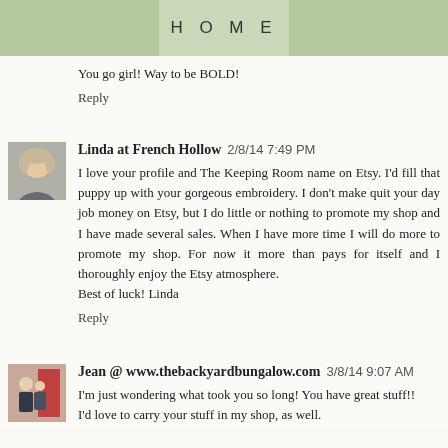HOME
You go girl! Way to be BOLD!
Reply
Linda at French Hollow  2/8/14 7:49 PM
I love your profile and The Keeping Room name on Etsy. I'd fill that puppy up with your gorgeous embroidery. I don't make quit your day job money on Etsy, but I do little or nothing to promote my shop and I have made several sales. When I have more time I will do more to promote my shop. For now it more than pays for itself and I thoroughly enjoy the Etsy atmosphere.
Best of luck! Linda
Reply
Jean @ www.thebackyardbungalow.com  3/8/14 9:07 AM
I'm just wondering what took you so long! You have great stuff!!
I'd love to carry your stuff in my shop, as well.